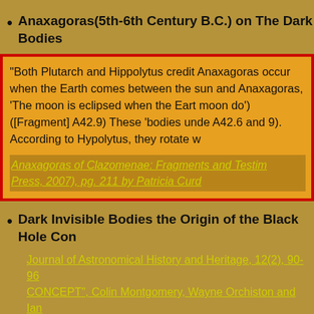Anaxagoras(5th-6th Century B.C.) on The Dark Bodies
"Both Plutarch and Hippolytus credit Anaxagoras occur when the Earth comes between the sun and Anaxagoras, 'The moon is eclipsed when the Earth moon do') ([Fragment] A42.9) These 'bodies unde A42.6 and 9). According to Hypolytus, they rotate w
Anaxagoras of Clazomenae: Fragments and Testim Press, 2007), pg. 211 by Patricia Curd
Dark Invisible Bodies the Origin of the Black Hole Con
Journal of Astronomical History and Heritage, 12(2), 90-96 CONCEPT", Colin Montgomery, Wayne Orchiston and Ian
PLINY THE ELDER, Natural History, Book II.X,
"it happened once in the past that the moon was ecl